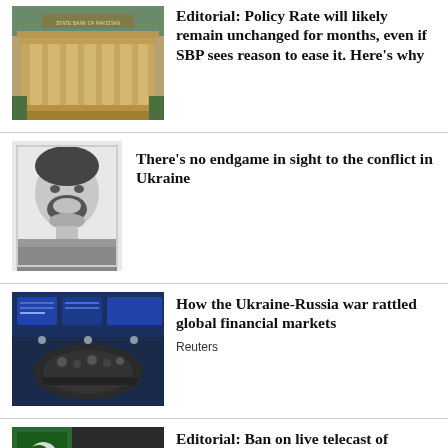Editorial: Policy Rate will likely remain unchanged for months, even if SBP sees reason to ease it. Here's why
[Figure (photo): Photo of State Bank of Pakistan building exterior]
There's no endgame in sight to the conflict in Ukraine
[Figure (photo): Black and white headshot photo of a man with beard]
How the Ukraine-Russia war rattled global financial markets
[Figure (photo): Photo of global financial trading floor with blue screens]
Reuters
Editorial: Ban on live telecast of Imran's speeches is an attack on right to freedom of expression
[Figure (photo): Photo of Imran Khan speaking at a rally with crowd behind]